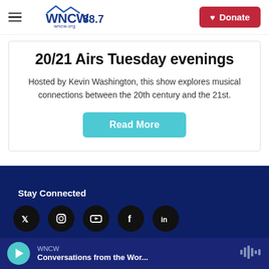WNCW 88.7 | Donate
20/21 Airs Tuesday evenings
Hosted by Kevin Washington, this show explores musical connections between the 20th century and the 21st.
Read More
Stay Connected
WNCW
Conversations from the Wor...